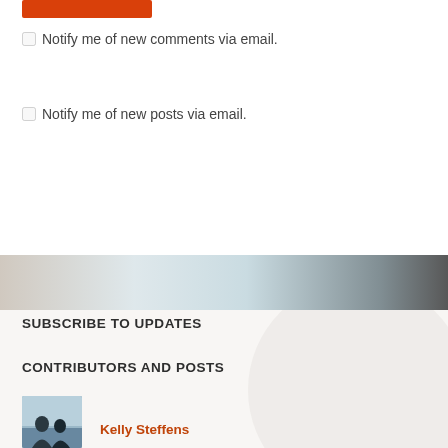[Figure (other): Red/orange submit button at top of page]
Notify me of new comments via email.
Notify me of new posts via email.
[Figure (photo): Horizontal banner image strip with light to dark gradient, appearing to be a blurred photo]
SUBSCRIBE TO UPDATES
CONTRIBUTORS AND POSTS
[Figure (photo): Small photo of two women, contributor profile picture]
Kelly Steffens